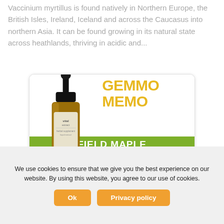Vaccinium myrtillus is found natively in Northern Europe, the British Isles, Ireland, Iceland and across the Caucasus into northern Asia. It can be found growing in its natural state across heathlands, thriving in acidic and...
[Figure (illustration): Advertisement card with a dropper bottle on the left side, bold yellow text reading GEMMO MEMO on the upper right, and a green banner across the lower portion reading FIELD MAPLE with green leaves decorating the bottom right.]
We use cookies to ensure that we give you the best experience on our website. By using this website, you agree to our use of cookies.